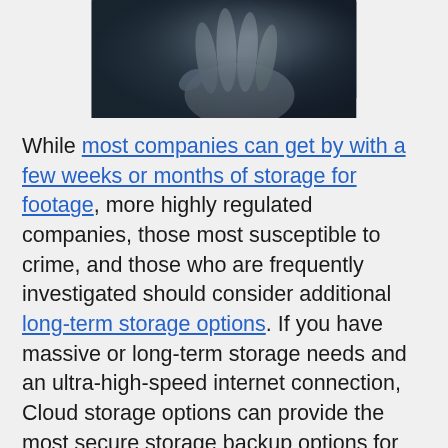[Figure (photo): A dark, moody close-up photograph of a human hand partially extended against a dark blurred background.]
While most companies can get by with a few weeks or months of storage for footage, more highly regulated companies, those most susceptible to crime, and those who are frequently investigated should consider additional long-term storage options. If you have massive or long-term storage needs and an ultra-high-speed internet connection, Cloud storage options can provide the most secure storage backup options for your business. Cloud storage minimizes the risk of data loss and provides